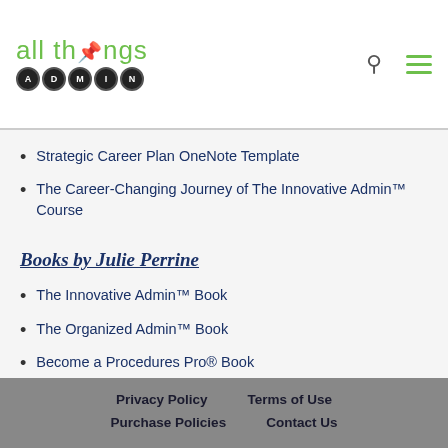all things admin
Strategic Career Plan OneNote Template
The Career-Changing Journey of The Innovative Admin™ Course
Books by Julie Perrine
The Innovative Admin™ Book
The Organized Admin™ Book
Become a Procedures Pro® Book
Privacy Policy   Terms of Use   Purchase Policies   Contact Us